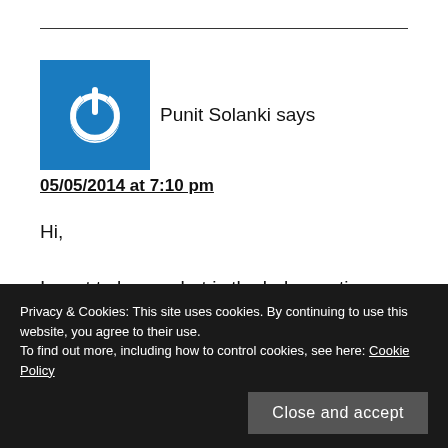Punit Solanki says
05/05/2014 at 7:10 pm
Hi,
I want to know what is the below option used for when we create a customer firewall rule :
Privacy & Cookies: This site uses cookies. By continuing to use this website, you agree to their use. To find out more, including how to control cookies, see here: Cookie Policy
Close and accept
Even if I set it to false, the firewall rule is selected in